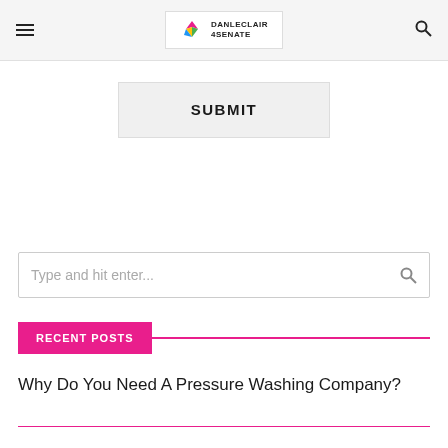DANLECLAIR 4SENATE
SUBMIT
Type and hit enter...
RECENT POSTS
Why Do You Need A Pressure Washing Company?